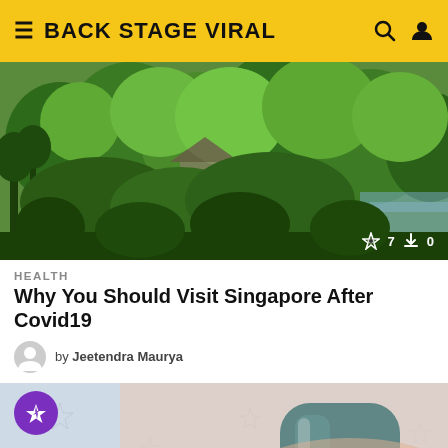BACK STAGE VIRAL
[Figure (photo): Aerial view of lush tropical greenery and trees in Singapore, with a structure visible and a body of water in the background. Stats overlay shows 7 views and 0 shares.]
HEALTH
Why You Should Visit Singapore After Covid19
by Jeetendra Maurya
[Figure (photo): Close-up of a hand with dark teal nail polish against a light sparkly background with silver stars. A purple viral lightning bolt badge overlaid. A yellow scroll-to-top button in the bottom right.]